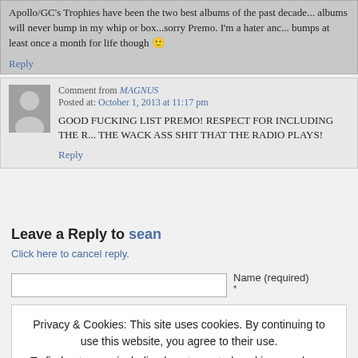Apollo/GC's Trophies have been the two best albums of the past decade...albums will never bump in my whip or box...sorry Premo. I'm a hater and...bumps at least once a month for life though
Reply
Comment from MAGNUS
Posted at: October 1, 2013 at 11:17 pm
GOOD FUCKING LIST PREMO! RESPECT FOR INCLUDING THE R... THE WACK ASS SHIT THAT THE RADIO PLAYS!
Reply
Leave a Reply to sean
Click here to cancel reply.
Name (required)
Privacy & Cookies: This site uses cookies. By continuing to use this website, you agree to their use.
To find out more, including how to control cookies, see here: Cookie Policy
Close and accept